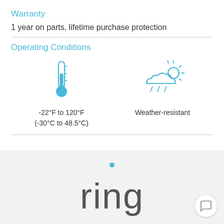Warranty
1 year on parts, lifetime purchase protection
Operating Conditions
[Figure (infographic): Thermometer icon (blue) above temperature range text '-22°F to 120°F (-30°C to 48.5°C)' and a partly cloudy with rain icon above 'Weather-resistant']
[Figure (logo): Ring brand logo with blue dot above the 'i' in 'ring', gray text on light gray background]